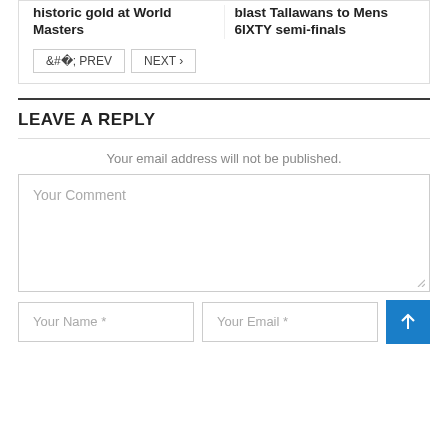historic gold at World Masters
blast Tallawans to Mens 6IXTY semi-finals
‹ PREV   NEXT ›
LEAVE A REPLY
Your email address will not be published.
Your Comment
Your Name *
Your Email *